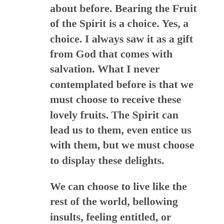about before. Bearing the Fruit of the Spirit is a choice. Yes, a choice. I always saw it as a gift from God that comes with salvation. What I never contemplated before is that we must choose to receive these lovely fruits. The Spirit can lead us to them, even entice us with them, but we must choose to display these delights.
We can choose to live like the rest of the world, bellowing insults, feeling entitled, or blaming and shaming others. We can choose to follow the crowd, and conform to the chaotic voices we find all around us or we can choose a different path.
What good fruit can we choose to bear? How about love instead of hate? We can find joy